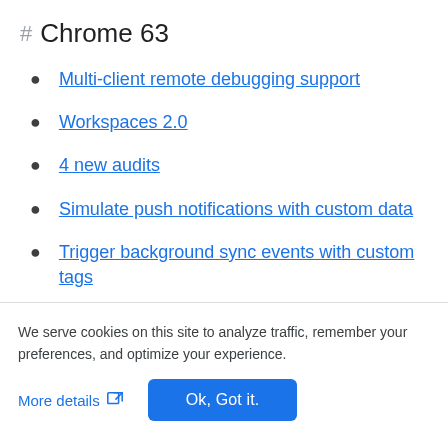# Chrome 63
Multi-client remote debugging support
Workspaces 2.0
4 new audits
Simulate push notifications with custom data
Trigger background sync events with custom tags
We serve cookies on this site to analyze traffic, remember your preferences, and optimize your experience.
More details  Ok, Got it.